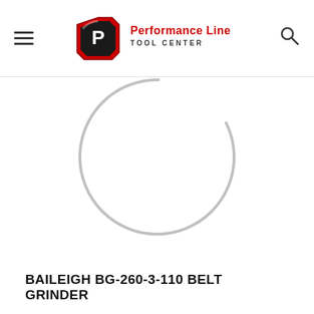Performance Line Tool Center
[Figure (photo): Loading spinner animation — a partial circle arc (crescent shape) in gray, indicating a loading state for a product image of the Baileigh BG-260-3-110 Belt Grinder]
BAILEIGH BG-260-3-110 BELT GRINDER